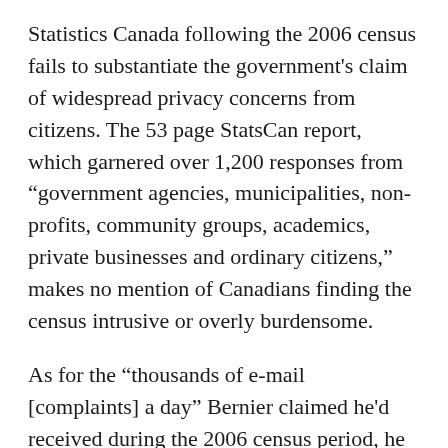Statistics Canada following the 2006 census fails to substantiate the government's claim of widespread privacy concerns from citizens. The 53 page StatsCan report, which garnered over 1,200 responses from "government agencies, municipalities, non-profits, community groups, academics, private businesses and ordinary citizens," makes no mention of Canadians finding the census intrusive or overly burdensome.
As for the "thousands of e-mail [complaints] a day" Bernier claimed he'd received during the 2006 census period, he alleges "these messages were obviously not filed for future use by my staff and were deleted."
Of course they were.
Regarding the reliability and accuracy of information gathered through a voluntary questionnaire, one only has to look to our neighbours to the south, who in 2003 experimented with a voluntary survey in place of a mandatory census. What resulted was an expensive mess of skewed and